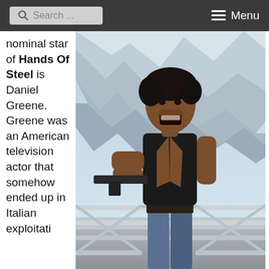Search ... Menu
nominal star of Hands Of Steel is Daniel Greene. Greene was an American television actor that somehow ended up in Italian exploitati
[Figure (photo): A muscular man in a sleeveless black jacket, holding a gun, shouting, with a mountainous rocky background and metal structure visible.]